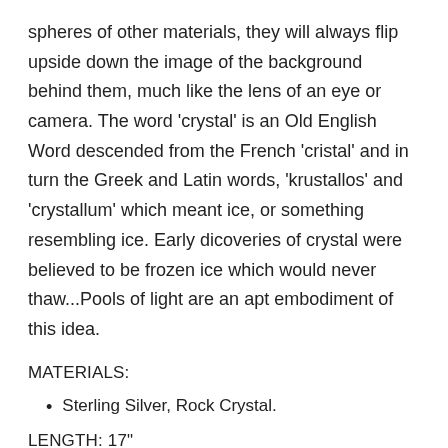spheres of other materials, they will always flip upside down the image of the background behind them, much like the lens of an eye or camera. The word 'crystal' is an Old English Word descended from the French 'cristal' and in turn the Greek and Latin words, 'krustallos' and 'crystallum' which meant ice, or something resembling ice. Early dicoveries of crystal were believed to be frozen ice which would never thaw...Pools of light are an apt embodiment of this idea.
MATERIALS:
Sterling Silver, Rock Crystal.
LENGTH: 17"
DIMENSIONS: